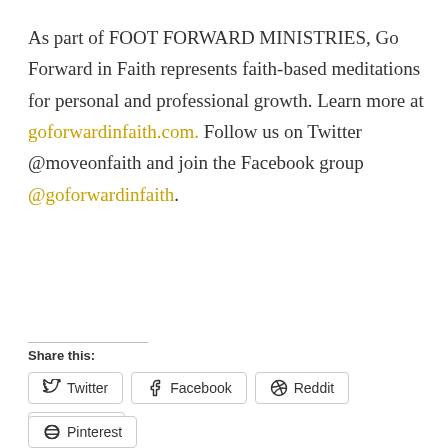As part of FOOT FORWARD MINISTRIES, Go Forward in Faith represents faith-based meditations for personal and professional growth. Learn more at goforwardinfaith.com. Follow us on Twitter @moveonfaith and join the Facebook group @goforwardinfaith.
Share this:
Twitter
Facebook
Reddit
Tumblr
Pinterest